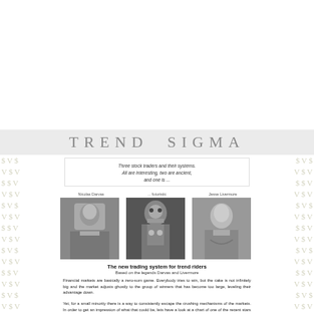TREND SIGMA
Three stock traders and their systems.
All are interesting, two are ancient,
and one is ...
[Figure (photo): Black and white photo of Nicolas Darvas, a man in suit]
[Figure (photo): Black and white photo of a robot (Futuristic/... futuristic)]
[Figure (photo): Black and white photo of Jesse Livermore, an older man]
The new trading system for trend riders
Based on the legends Darvas and Livermore
Financial markets are basically a zero-sum game. Everybody tries to win, but the cake is not infinitely big and the market adjusts ghostly to the group of winners that has become too large, leveling their advantage down.
Yet, for a small minority there is a way to consistently escape the crushing mechanisms of the markets. In order to get an impression of what that could be, lets have a look at a chart of one of the recent stars of the stock market.
A 100-fold increase in 3 years
[Figure (line-chart): Line chart showing a 100-fold increase, with +$19.00 annotation visible at top right, and stock price curve rising sharply]